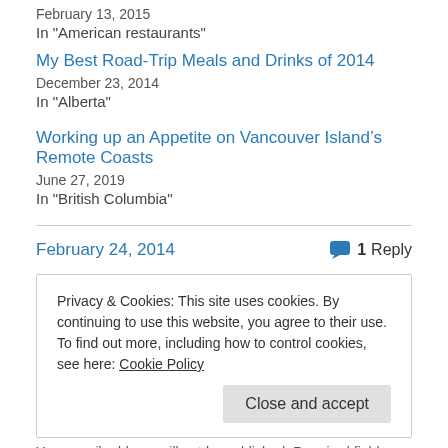February 13, 2015
In "American restaurants"
My Best Road-Trip Meals and Drinks of 2014
December 23, 2014
In "Alberta"
Working up an Appetite on Vancouver Island’s Remote Coasts
June 27, 2019
In "British Columbia"
February 24, 2014
1 Reply
Privacy & Cookies: This site uses cookies. By continuing to use this website, you agree to their use.
To find out more, including how to control cookies, see here: Cookie Policy
Close and accept
Your email address will not be published. Required fields